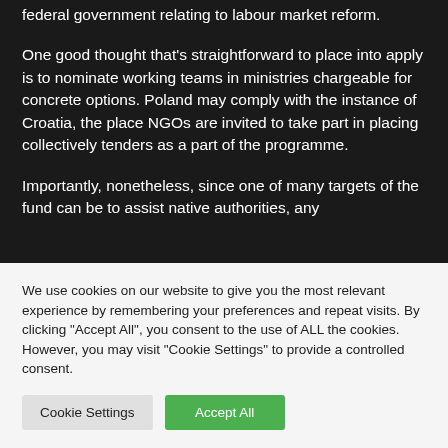federal government relating to labour market reform.
One good thought that's straightforward to place into apply is to nominate working teams in ministries chargeable for concrete options. Poland may comply with the instance of Croatia, the place NGOs are invited to take part in placing collectively tenders as a part of the programme.
Importantly, nonetheless, since one of many targets of the fund can be to assist native authorities, any
We use cookies on our website to give you the most relevant experience by remembering your preferences and repeat visits. By clicking "Accept All", you consent to the use of ALL the cookies. However, you may visit "Cookie Settings" to provide a controlled consent.